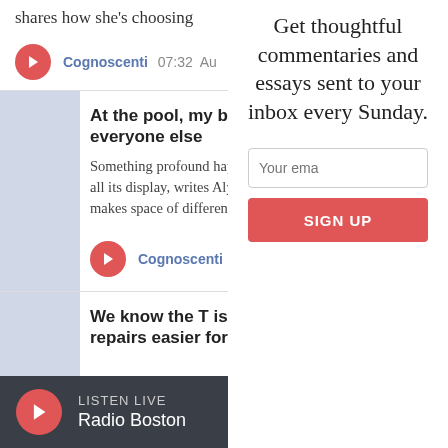shares how she's choosing
Cognoscenti  07:32  Au
At the pool, my boy can e like everyone else
Something profound happ the public pool, with all its display, writes Alysia Abbo richness that makes space of differences, including...
Cognoscenti  06:19  Au
We know the T is broken. make repairs easier for ri
Get thoughtful commentaries and essays sent to your inbox every Sunday.
Your ema
SIGN UP
LISTEN LIVE
Radio Boston